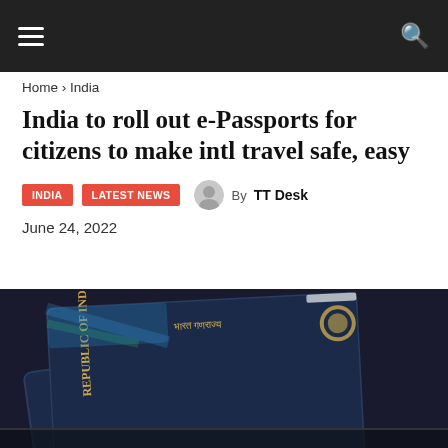Navigation bar with hamburger menu and search icon
Home › India
India to roll out e-Passports for citizens to make intl travel safe, easy
INDIA   LATEST NEWS   By TT Desk
June 24, 2022
[Figure (photo): Two dark navy blue Indian passports showing 'REPUBLIC OF INDIA' text and national emblem in gold, placed on top of each other at an angle on a dark surface]